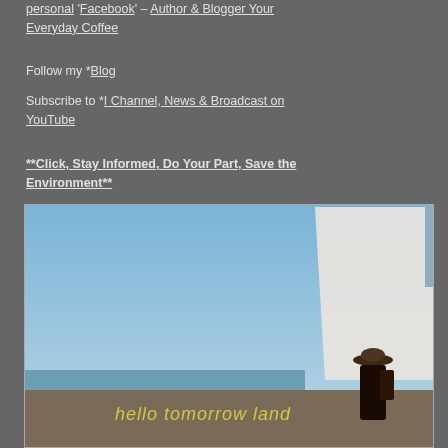personal 'Facebook' – Author & Blogger Your Everyday Coffee
Follow my *Blog
Subscribe to *I Channel, News & Broadcast on YouTube
**Click, Stay Informed, Do Your Part, Save the Environment**
[Figure (photo): A person wearing a hat standing near a sailboat with the ocean and blue sky in the background. Yellow text overlay reads 'hello tomorrow land'.]